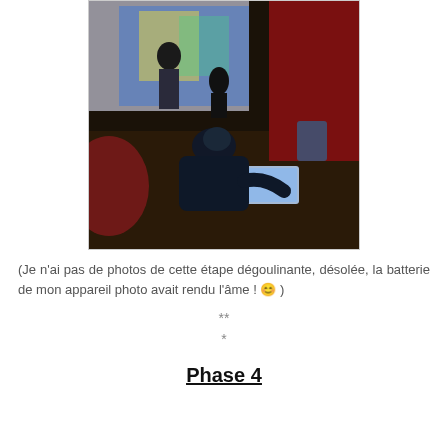[Figure (photo): A child seen from behind, wearing a dark blue hoodie, sitting at a desk with a glowing laptop screen. In the background, other children and colorful decorations can be seen in what appears to be a living room with a red wall.]
(Je n'ai pas de photos de cette étape dégoulinante, désolée, la batterie de mon appareil photo avait rendu l'âme ! 😊 )
**
*
Phase 4